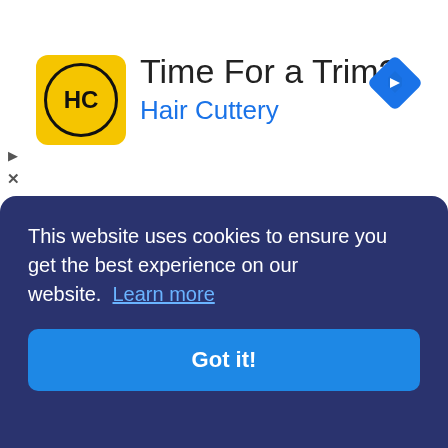[Figure (other): Hair Cuttery advertisement banner with yellow/black logo showing HC initials, headline 'Time For a Trim?', brand name 'Hair Cuttery', and a blue navigation direction icon in the top right.]
Prince alli
February 10, 2021

I can't update panda helper into new version

Reply
Prince alli
February 10, 2021

Hi when I open the app it's saying that.the new version is here. When I click the download button it's not
This website uses cookies to ensure you get the best experience on our website. Learn more

Got it!